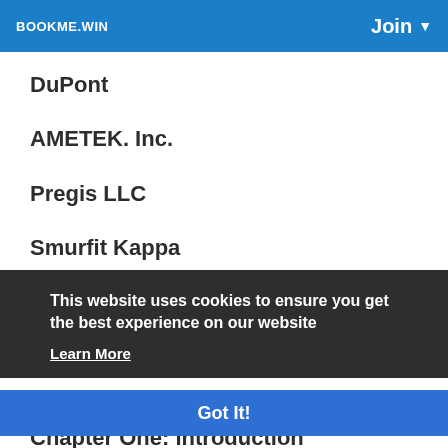BOOKME.WIN   Join
DuPont
AMETEK. Inc.
Pregis LLC
Smurfit Kappa
This website uses cookies to ensure you get the best experience on our website
Learn More
Got It!
Chapter One: Introduction